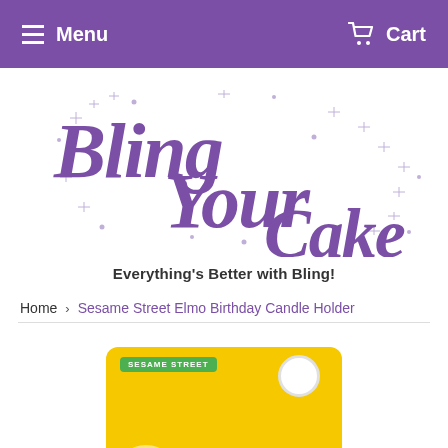Menu  Cart
[Figure (logo): Bling Your Cake cursive script logo in purple with sparkle/star decorative elements]
Everything's Better with Bling!
Home > Sesame Street Elmo Birthday Candle Holder
[Figure (photo): Sesame Street Elmo Birthday Candle Holder product packaging on yellow background with green Sesame Street label and hanger hole]